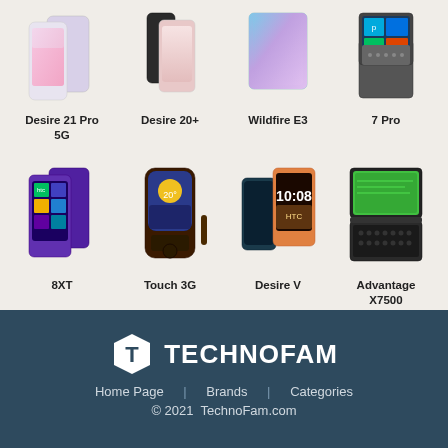[Figure (photo): Grid of HTC phone product images, top row: Desire 21 Pro 5G, Desire 20+, Wildfire E3, 7 Pro]
Desire 21 Pro 5G
Desire 20+
Wildfire E3
7 Pro
[Figure (photo): Grid of HTC phone product images, bottom row: 8XT, Touch 3G, Desire V, Advantage X7500]
8XT
Touch 3G
Desire V
Advantage X7500
TECHNOFAM | Home Page | Brands | Categories | © 2021 TechnoFam.com